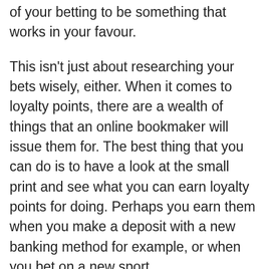of your betting to be something that works in your favour.
This isn't just about researching your bets wisely, either. When it comes to loyalty points, there are a wealth of things that an online bookmaker will issue them for. The best thing that you can do is to have a look at the small print and see what you can earn loyalty points for doing. Perhaps you earn them when you make a deposit with a new banking method for example, or when you bet on a new sport.
There are often a wealth of relatively easy things that you can do to earn points that will boost your ability to take advantage of the loyalty scheme. The best thing that you can do